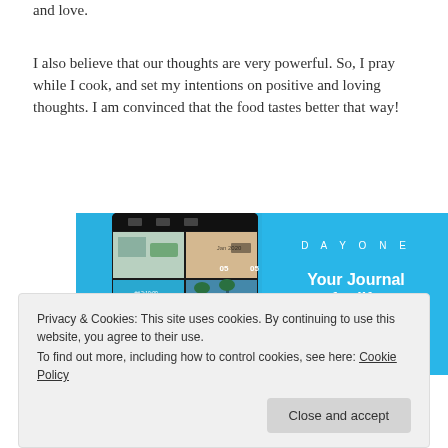and love.
I also believe that our thoughts are very powerful. So, I pray while I cook, and set my intentions on positive and loving thoughts. I am convinced that the food tastes better that way!
[Figure (screenshot): Day One app advertisement showing a journal app interface with photo grid on the left and 'DAYONE - Your Journal for life' branding with 'Get the app' button on the right, on a cyan/blue background.]
Privacy & Cookies: This site uses cookies. By continuing to use this website, you agree to their use.
To find out more, including how to control cookies, see here: Cookie Policy
Close and accept